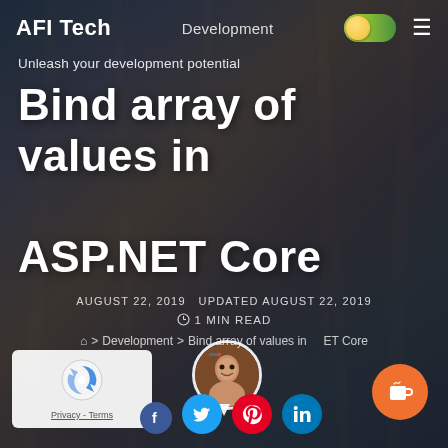AFI Tech   Development
Unleash your development potential
Bind array of values in ASP.NET Core
AUGUST 22, 2019   UPDATED AUGUST 22, 2019   1 MIN READ
[Figure (photo): Author profile photo in circular frame with location pin below]
Home > Development > Bind array of values in ASP.NET Core
[Figure (logo): reCAPTCHA widget with Privacy - Terms text]
[Figure (infographic): Social share icons: Facebook, Twitter, Pinterest, LinkedIn]
[Figure (other): Buy Me a Coffee orange circular button]